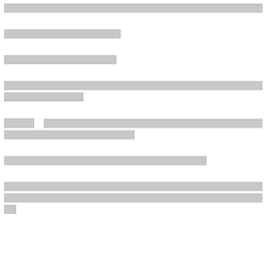[redacted text block - line 1]
[redacted text block - line 2]
[redacted text block - line 3]
[redacted text block - line 4]
[redacted text block - line 5]
[redacted text block - line 6]
[redacted text block - line 7]